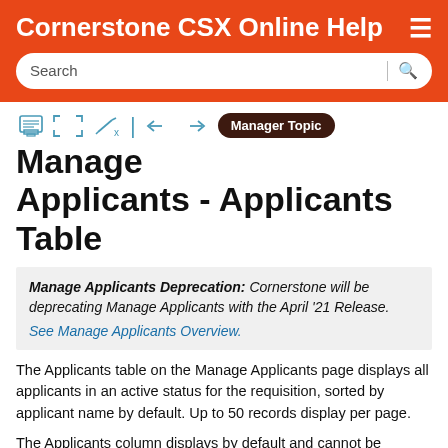Cornerstone CSX Online Help
Manage Applicants - Applicants Table
Manage Applicants Deprecation: Cornerstone will be deprecating Manage Applicants with the April '21 Release. See Manage Applicants Overview.
The Applicants table on the Manage Applicants page displays all applicants in an active status for the requisition, sorted by applicant name by default. Up to 50 records display per page.
The Applicants column displays by default and cannot be